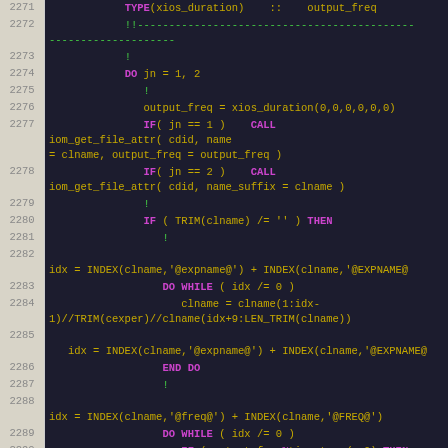[Figure (screenshot): Fortran source code listing with line numbers 2271-2294, showing code for output frequency handling with TYPE, DO loops, IF conditions, CALL statements, and string index operations. Syntax highlighted with purple keywords and orange/yellow identifiers on dark background.]